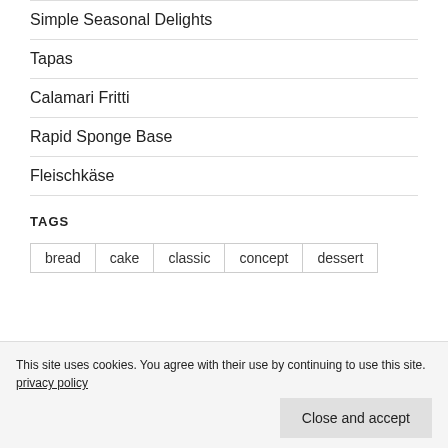Simple Seasonal Delights
Tapas
Calamari Fritti
Rapid Sponge Base
Fleischkäse
TAGS
bread  cake  classic  concept  dessert
This site uses cookies. You agree with their use by continuing to use this site. privacy policy
Close and accept
preserving  proportion  quickie  sausage